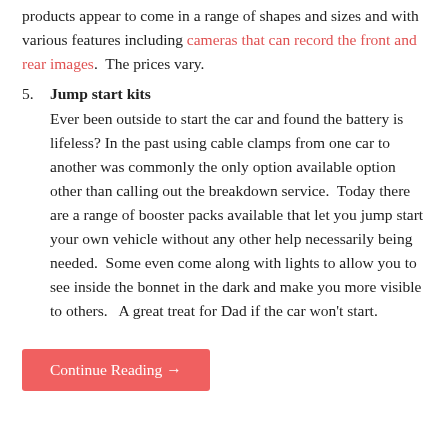products appear to come in a range of shapes and sizes and with various features including cameras that can record the front and rear images.  The prices vary.
5. Jump start kits
Ever been outside to start the car and found the battery is lifeless? In the past using cable clamps from one car to another was commonly the only option available option other than calling out the breakdown service.  Today there are a range of booster packs available that let you jump start your own vehicle without any other help necessarily being needed.  Some even come along with lights to allow you to see inside the bonnet in the dark and make you more visible to others.   A great treat for Dad if the car won't start.
Continue Reading →